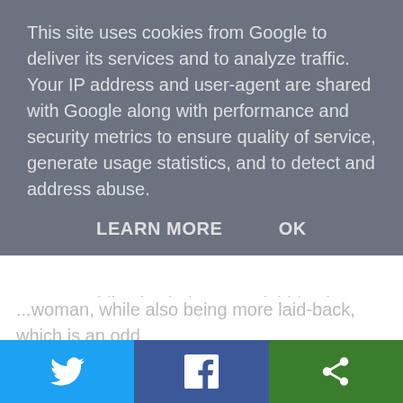This site uses cookies from Google to deliver its services and to analyze traffic. Your IP address and user-agent are shared with Google along with performance and security metrics to ensure quality of service, generate usage statistics, and to detect and address abuse.
LEARN MORE   OK
combination. I find my self wildly annoyed often at tiny things but do nothing about them (except tweet them! LOL), as a teen I would have done things, protested, commented and been generally annoying to all around. Did it change anything? Nope. So now I'm older, maybe wiser, maybe just dulled, and of course things that were black and white when I was a teen are shades of grey now. (and no, not talking hair….although….)
I was very anti-abortion as a teen, marched to downing street, placards etc etc the whole works. The thought of
[Figure (other): Social share bar with Twitter (blue), Facebook (dark blue), and a third share button (green) with respective icons]